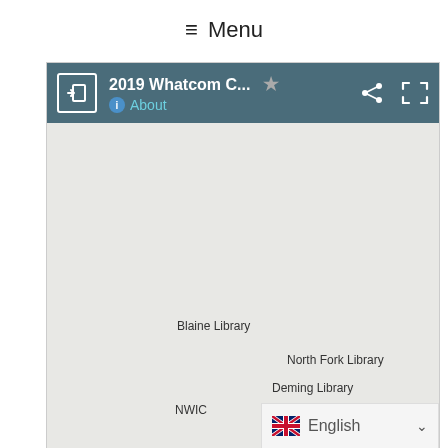≡ Menu
[Figure (screenshot): Screenshot of a web map interface showing '2019 Whatcom C...' with a Google Maps-style map displaying library locations: Blaine Library, North Fork Library, Deming Library, and NWIC in Whatcom County. The toolbar has share and fullscreen icons. A language selector shows 'English' with a UK flag at the bottom right.]